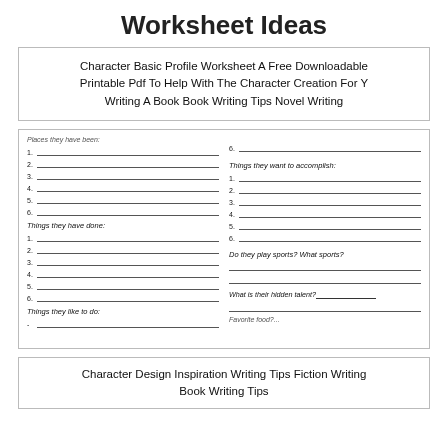Worksheet Ideas
Character Basic Profile Worksheet A Free Downloadable Printable Pdf To Help With The Character Creation For Y Writing A Book Book Writing Tips Novel Writing
[Figure (screenshot): Partial view of a character profile worksheet showing numbered blank lines under headings: Places they have been, Things they have done, Things they like to do (left column) and numbered lines under Things they want to accomplish, Do they play sports? What sports?, What is their hidden talent?, Favorite food? (right column)]
Character Design Inspiration Writing Tips Fiction Writing Book Writing Tips